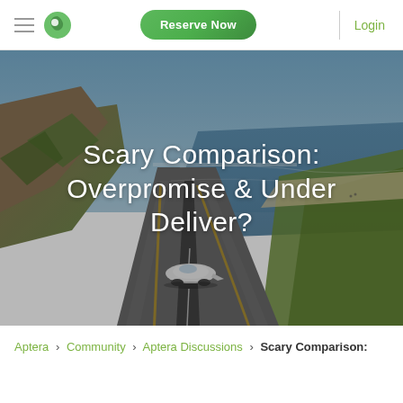Navigation bar with hamburger menu, Aptera logo, Reserve Now button, and Login link
[Figure (photo): Aerial coastal highway photo with a futuristic white Aptera vehicle driving on the road, ocean and cliffs visible, overlaid with white title text: Scary Comparison: Overpromise & Under Deliver?]
Scary Comparison: Overpromise & Under Deliver?
Aptera › Community › Aptera Discussions › Scary Comparison: